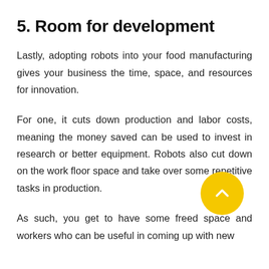5. Room for development
Lastly, adopting robots into your food manufacturing gives your business the time, space, and resources for innovation.
For one, it cuts down production and labor costs, meaning the money saved can be used to invest in research or better equipment. Robots also cut down on the work floor space and take over some repetitive tasks in production.
As such, you get to have some freed space and workers who can be useful in coming up with new